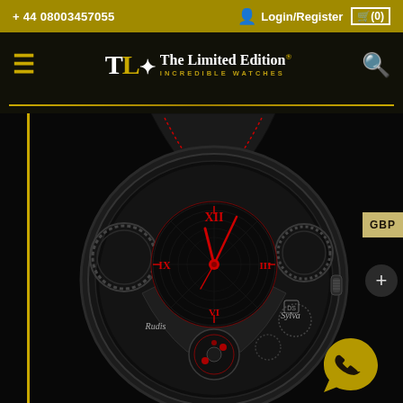+ 44 08003457055   Login/Register (0)
[Figure (logo): The Limited Edition Incredible Watches logo with TLE monogram in white and gold on dark background]
[Figure (photo): Rudis Sylva luxury skeleton watch with black case, red Roman numerals XII and IX on inner dial, red hands, exposed mechanical movement, black leather strap with red stitching, on black background. GBP currency badge visible on right edge.]